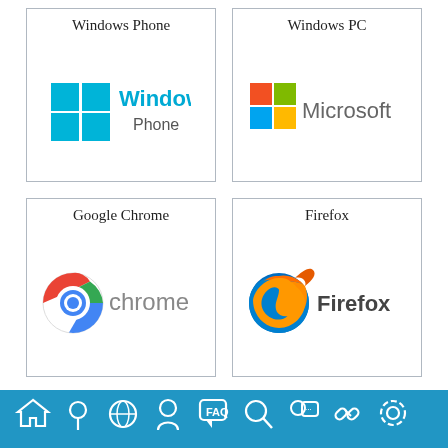[Figure (logo): Windows Phone logo card with cyan Windows logo and text 'Windows Phone']
[Figure (logo): Windows PC card with Microsoft logo (colored squares) and text 'Microsoft']
[Figure (logo): Google Chrome card with Chrome browser logo and text 'chrome']
[Figure (logo): Firefox card with Firefox browser logo and text 'Firefox']
[Figure (logo): Wordpress card with WordPress logo and text 'WORDPRESS']
[Figure (logo): Cloud API card with json:api text in curly braces]
[Figure (infographic): Blue footer navigation bar with 9 icons: home, location pin, globe, user/chat, FAQ/chat, search, chat/person, link/chain, settings gear]